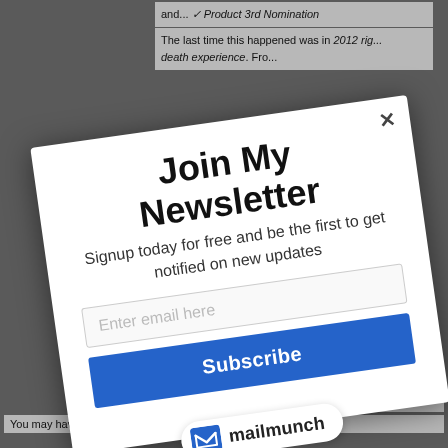The last time this happened was in 2012 right... death experience. Fro...
Join My Newsletter
Signup today for free and be the first to get notified on new updates
Enter email here
Subscribe
[Figure (logo): Mailmunch logo badge with blue M icon and 'mailmunch' text on white pill-shaped background]
... what these are a...
You may have felt nausea off and on, hot spots on the body